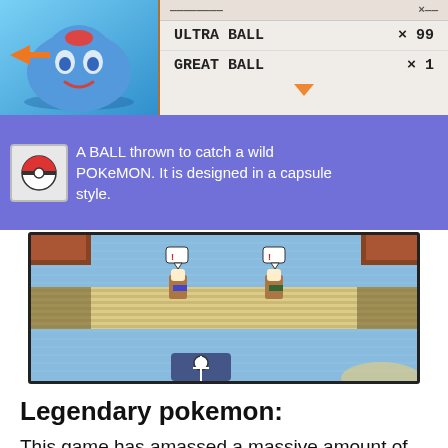[Figure (screenshot): Pokémon game screenshot showing bag/inventory menu with Ultra Ball x99 and Great Ball x1, a purple description box showing 'A BALL thrown to catch a wild POKeMON. It is designed in a capsule style.' with a Poke Ball icon, and a game map view of a water route with player characters.]
Legendary pokemon:
This game has amassed a massive amount of players who are eager to collect, battle, and evolve their own team of Pokemon